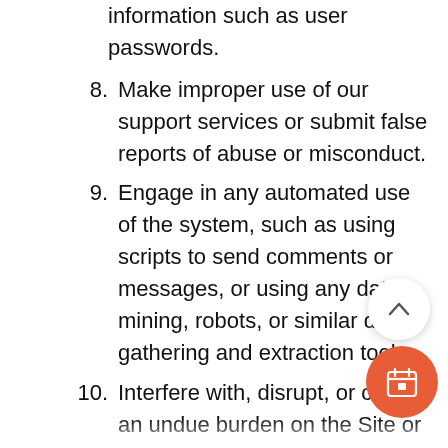information such as user passwords.
8. Make improper use of our support services or submit false reports of abuse or misconduct.
9. Engage in any automated use of the system, such as using scripts to send comments or messages, or using any data mining, robots, or similar data gathering and extraction tools.
10. Interfere with, disrupt, or create an undue burden on the Site or the networks or services connected to the Site.
11. Attempt to impersonate another user or person or use the username of another user.